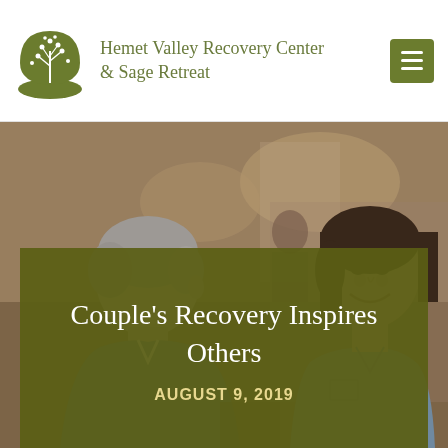Hemet Valley Recovery Center & Sage Retreat
[Figure (photo): Two people sitting across from each other in conversation, one facing away with grey hair wearing blue, the other a smiling woman with dark hair wearing a denim shirt, in a blurred indoor setting.]
Couple's Recovery Inspires Others
AUGUST 9, 2019